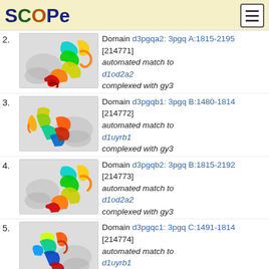SCOPe
2. Domain d3pgqa2: 3pgq A:1815-2195 [214771] automated match to d1od2a2 complexed with gy3
3. Domain d3pgqb1: 3pgq B:1480-1814 [214772] automated match to d1uyrb1 complexed with gy3
4. Domain d3pgqb2: 3pgq B:1815-2192 [214773] automated match to d1od2a2 complexed with gy3
5. Domain d3pgqc1: 3pgq C:1491-1814 [214774] automated match to d1uyrb1